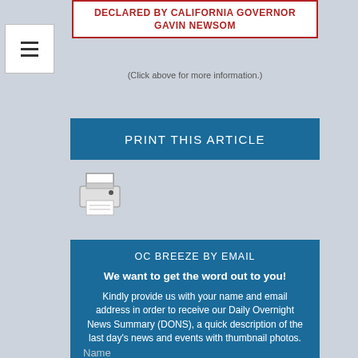DECLARED BY CALIFORNIA GOVERNOR GAVIN NEWSOM
(Click above for more information.)
PRINT THIS ARTICLE
[Figure (illustration): Printer icon graphic]
OC BREEZE BY EMAIL
We want to get the word out to you!
Kindly provide us with your name and email address in order to receive our Daily Overnight News Summary (DONS), a quick description of the last day's news and events with thumbnail photos.
Name